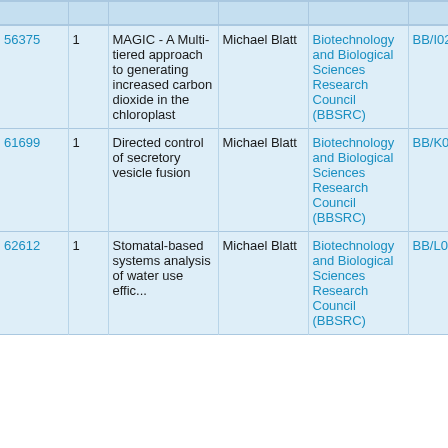|  |  |  |  |  |  |
| --- | --- | --- | --- | --- | --- |
| 56375 | 1 | MAGIC - A Multi-tiered approach to generating increased carbon dioxide in the chloroplast | Michael Blatt | Biotechnology and Biological Sciences Research Council (BBSRC) | BB/I024496... |
| 61699 | 1 | Directed control of secretory vesicle fusion | Michael Blatt | Biotechnology and Biological Sciences Research Council (BBSRC) | BB/K015892... |
| 62612 | 1 | Stomatal-based systems analysis of water use effic... | Michael Blatt | Biotechnology and Biological Sciences Research Council (BBSRC) | BB/L001276... |